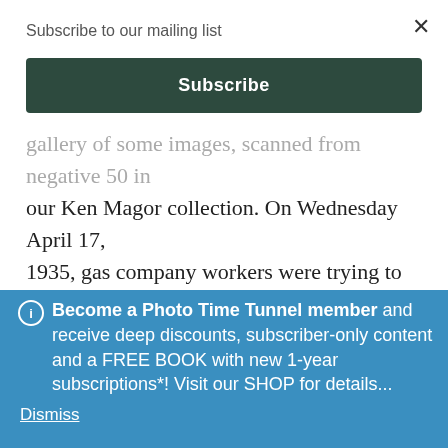Subscribe to our mailing list
Subscribe
gallery of some images, scanned from negative 50 in our Ken Magor collection. On Wednesday April 17, 1935, gas company workers were trying to fix a leak outside the Hunter Street shop of tobacconist George A. Campbell, when the gas ignited. Two people were
Become a Photo Time Tunnel member and receive deep discounts, subscriber-only content and a FREE BOOK with new 1-year subscriptions*! Visit our SHOP for details...
Dismiss